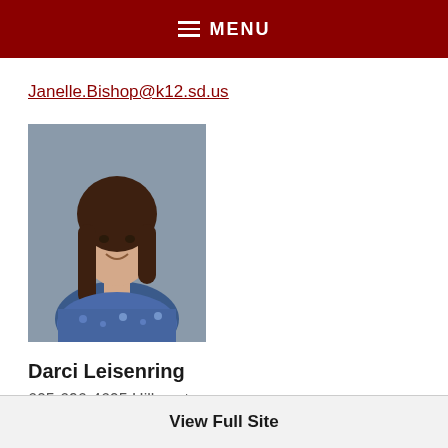MENU
Janelle.Bishop@k12.sd.us
[Figure (photo): Headshot photo of Darci Leisenring, a woman with long brown hair, smiling, wearing a blue patterned top, against a gray background.]
Darci Leisenring
605-696-4605 Hillcrest
Darci.Leisenring@k12.sd.us
View Full Site